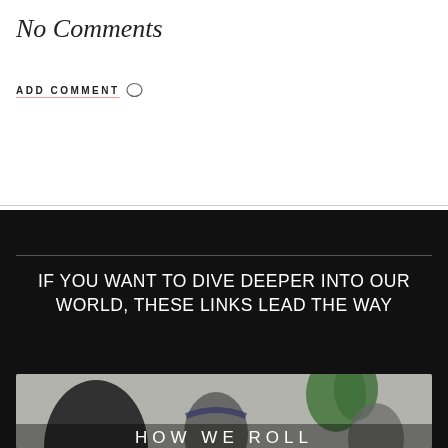No Comments
ADD COMMENT 💬
IF YOU WANT TO DIVE DEEPER INTO OUR WORLD, THESE LINKS LEAD THE WAY
[Figure (photo): Group photo of people with a plant in the background]
HOW WE ROLL